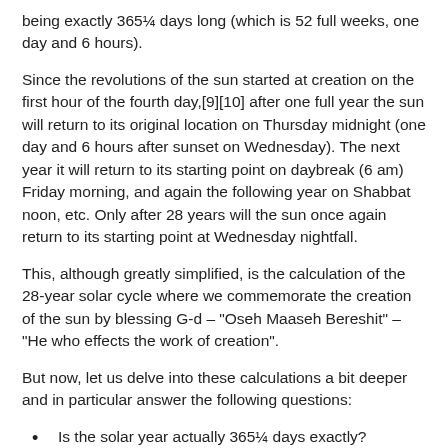being exactly 365¼ days long (which is 52 full weeks, one day and 6 hours).
Since the revolutions of the sun started at creation on the first hour of the fourth day,[9][10] after one full year the sun will return to its original location on Thursday midnight (one day and 6 hours after sunset on Wednesday). The next year it will return to its starting point on daybreak (6 am) Friday morning, and again the following year on Shabbat noon, etc. Only after 28 years will the sun once again return to its starting point at Wednesday nightfall.
This, although greatly simplified, is the calculation of the 28-year solar cycle where we commemorate the creation of the sun by blessing G-d – "Oseh Maaseh Bereshit" – "He who effects the work of creation".
But now, let us delve into these calculations a bit deeper and in particular answer the following questions:
Is the solar year actually 365¼ days exactly?
What defines a season?